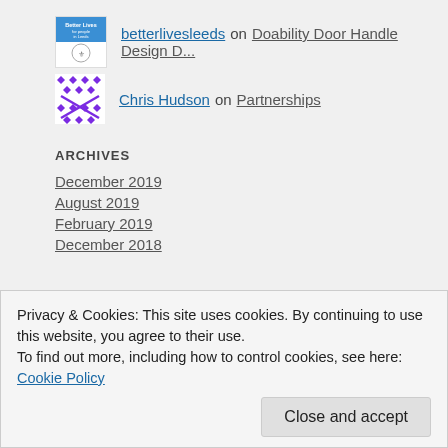[Figure (photo): Better Lives for People in Leeds avatar with city crest]
betterlivesleeds on Doability Door Handle Design D...
[Figure (photo): Purple geometric pattern avatar for Chris Hudson]
Chris Hudson on Partnerships
ARCHIVES
December 2019
August 2019
February 2019
December 2018
Privacy & Cookies: This site uses cookies. By continuing to use this website, you agree to their use.
To find out more, including how to control cookies, see here: Cookie Policy
Close and accept